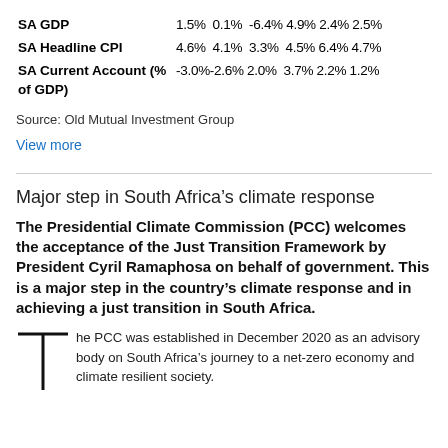|  | Col1 | Col2 | Col3 | Col4 | Col5 | Col6 |
| --- | --- | --- | --- | --- | --- | --- |
| SA GDP | 1.5% | 0.1% | -6.4% | 4.9% | 2.4% | 2.5% |
| SA Headline CPI | 4.6% | 4.1% | 3.3% | 4.5% | 6.4% | 4.7% |
| SA Current Account (% of GDP) | -3.0% | -2.6% | 2.0% | 3.7% | 2.2% | 1.2% |
Source: Old Mutual Investment Group
View more
Major step in South Africa’s climate response
The Presidential Climate Commission (PCC) welcomes the acceptance of the Just Transition Framework by President Cyril Ramaphosa on behalf of government. This is a major step in the country’s climate response and in achieving a just transition in South Africa.
he PCC was established in December 2020 as an advisory body on South Africa’s journey to a net-zero economy and climate resilient society.